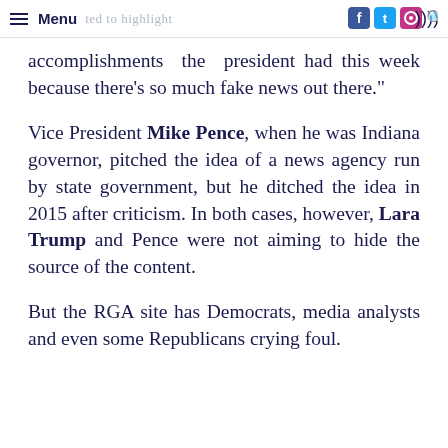Menu | ...ted to highlight
accomplishments the president had this week because there’s so much fake news out there.”
Vice President Mike Pence, when he was Indiana governor, pitched the idea of a news agency run by state government, but he ditched the idea in 2015 after criticism. In both cases, however, Lara Trump and Pence were not aiming to hide the source of the content.
But the RGA site has Democrats, media analysts and even some Republicans crying foul.